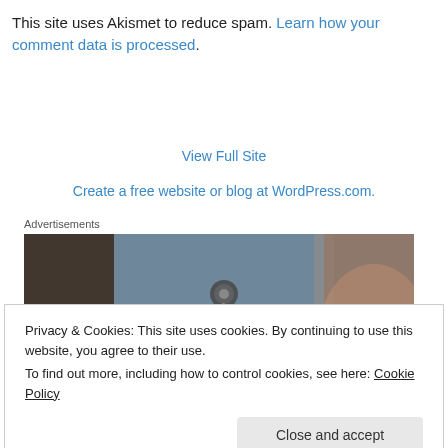This site uses Akismet to reduce spam. Learn how your comment data is processed.
View Full Site
Create a free website or blog at WordPress.com.
Advertisements
[Figure (photo): Advertisement photo showing a person smiling near a glass window with a circular detail and diagonal lines]
Privacy & Cookies: This site uses cookies. By continuing to use this website, you agree to their use.
To find out more, including how to control cookies, see here: Cookie Policy
Close and accept